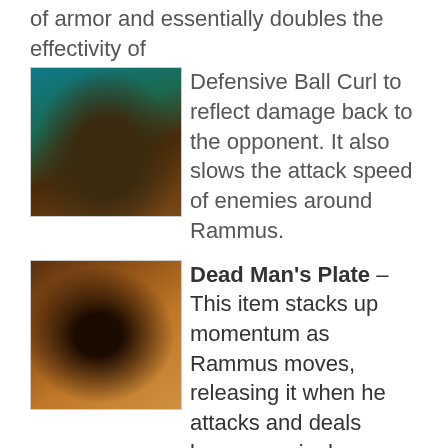of armor and essentially doubles the effectivity of
[Figure (illustration): Game character portrait of Rammus with teal/green armor]
Defensive Ball Curl to reflect damage back to the opponent. It also slows the attack speed of enemies around Rammus.
[Figure (illustration): Dead Man's Plate item icon with dark armored fist/gauntlet]
Dead Man's Plate – This item stacks up momentum as Rammus moves, releasing it when he attacks and deals bonus magic damage and slows the opponent. This is perfect for Rammus who likes to roam around the map and increases the rate of
[Figure (illustration): Powerball ability icon with glowing orange/gold ball]
stacking momentum through Powerball.
[Figure (logo): Discord button logo in bottom right corner]